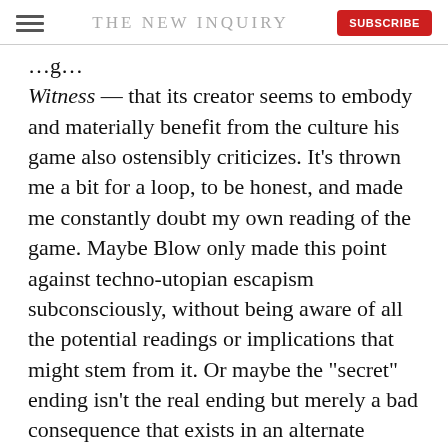THE NEW INQUIRY
Witness — that its creator seems to embody and materially benefit from the culture his game also ostensibly criticizes. It's thrown me a bit for a loop, to be honest, and made me constantly doubt my own reading of the game. Maybe Blow only made this point against techno-utopian escapism subconsciously, without being aware of all the potential readings or implications that might stem from it. Or maybe the "secret" ending isn't the real ending but merely a bad consequence that exists in an alternate universe, separate from the game's normal escapist narrative.
In any case, because of the cloud around it, The